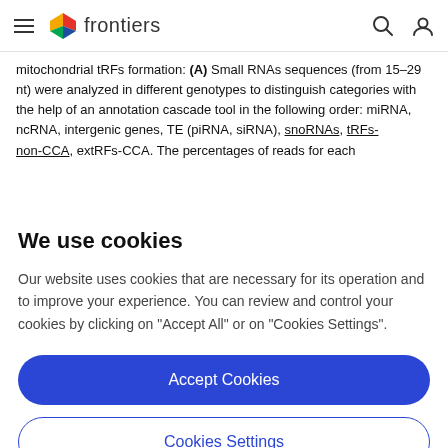frontiers
mitochondrial tRFs formation: (A) Small RNAs sequences (from 15–29 nt) were analyzed in different genotypes to distinguish categories with the help of an annotation cascade tool in the following order: miRNA, ncRNA, intergenic genes, TE (piRNA, siRNA), snoRNAs, tRFs-non-CCA, extRFs-CCA. The percentages of reads for each
We use cookies
Our website uses cookies that are necessary for its operation and to improve your experience. You can review and control your cookies by clicking on "Accept All" or on "Cookies Settings".
Accept Cookies
Cookies Settings